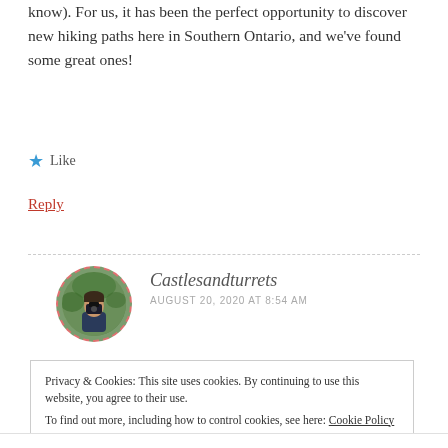know). For us, it has been the perfect opportunity to discover new hiking paths here in Southern Ontario, and we've found some great ones!
Like
Reply
Castlesandturrets
AUGUST 20, 2020 AT 8:54 AM
[Figure (photo): Round avatar photo of a person holding a camera, with dashed red/pink circular border, against a green background.]
Privacy & Cookies: This site uses cookies. By continuing to use this website, you agree to their use.
To find out more, including how to control cookies, see here: Cookie Policy
Close and accept